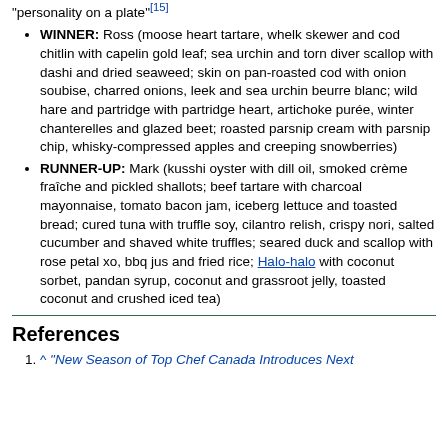"personality on a plate"[15]
WINNER: Ross (moose heart tartare, whelk skewer and cod chitlin with capelin gold leaf; sea urchin and torn diver scallop with dashi and dried seaweed; skin on pan-roasted cod with onion soubise, charred onions, leek and sea urchin beurre blanc; wild hare and partridge with partridge heart, artichoke purée, winter chanterelles and glazed beet; roasted parsnip cream with parsnip chip, whisky-compressed apples and creeping snowberries)
RUNNER-UP: Mark (kusshi oyster with dill oil, smoked crème fraîche and pickled shallots; beef tartare with charcoal mayonnaise, tomato bacon jam, iceberg lettuce and toasted bread; cured tuna with truffle soy, cilantro relish, crispy nori, salted cucumber and shaved white truffles; seared duck and scallop with rose petal xo, bbq jus and fried rice; Halo-halo with coconut sorbet, pandan syrup, coconut and grassroot jelly, toasted coconut and crushed iced tea)
References
^ "New Season of Top Chef Canada Introduces Next